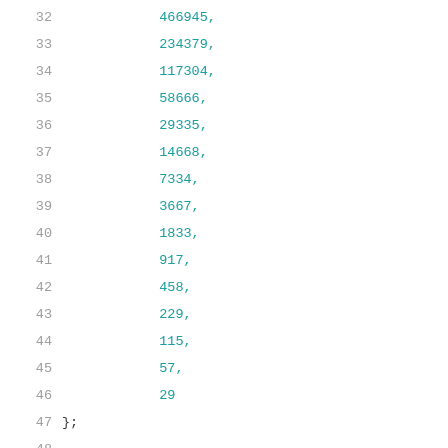32    466945,
33    234379,
34    117304,
35    58666,
36    29335,
37    14668,
38    7334,
39    3667,
40    1833,
41    917,
42    458,
43    229,
44    115,
45    57,
46    29
47 };
48
49    /*
50     * cordic_calc_iq() - calculates the i/q coordin
51     *
52     * theta: angle in degrees for which i/q coordin